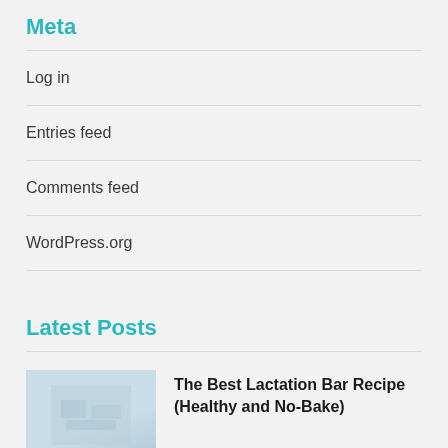Meta
Log in
Entries feed
Comments feed
WordPress.org
Latest Posts
The Best Lactation Bar Recipe (Healthy and No-Bake)